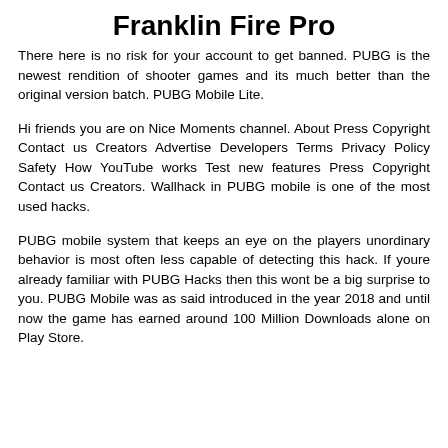Franklin Fire Pro
There here is no risk for your account to get banned. PUBG is the newest rendition of shooter games and its much better than the original version batch. PUBG Mobile Lite.
Hi friends you are on Nice Moments channel. About Press Copyright Contact us Creators Advertise Developers Terms Privacy Policy Safety How YouTube works Test new features Press Copyright Contact us Creators. Wallhack in PUBG mobile is one of the most used hacks.
PUBG mobile system that keeps an eye on the players unordinary behavior is most often less capable of detecting this hack. If youre already familiar with PUBG Hacks then this wont be a big surprise to you. PUBG Mobile was as said introduced in the year 2018 and until now the game has earned around 100 Million Downloads alone on Play Store.